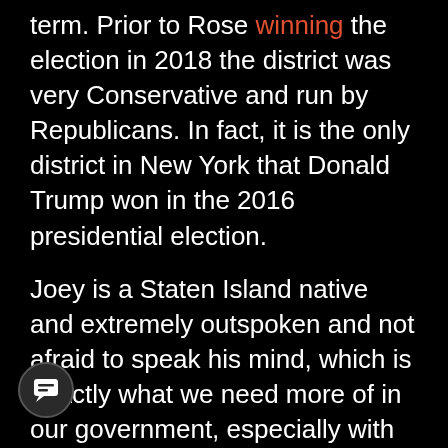term. Prior to Rose winning the election in 2018 the district was very Conservative and run by Republicans. In fact, it is the only district in New York that Donald Trump won in the 2016 presidential election.
Joey is a Staten Island native and extremely outspoken and not afraid to speak his mind, which is exactly what we need more of in our government, especially with the recent Democratic freshman in Congress who certainly seem to hate America, our values and want to implement Socialism.
Thankfully, I was able to get an exclusive interview with Joey to learn more about his political views and get a feel for his campaign. The question I asked will be in bold. Joseph's